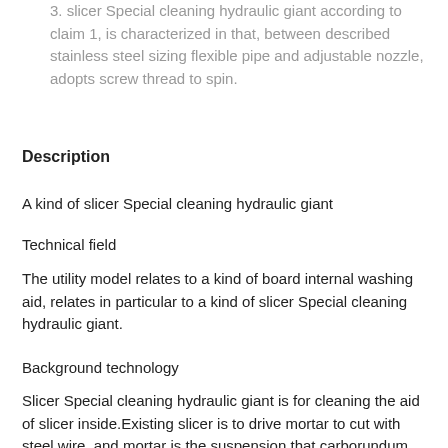3. slicer Special cleaning hydraulic giant according to claim 1, is characterized in that, between described stainless steel sizing flexible pipe and adjustable nozzle, adopts screw thread to spin.
Description
A kind of slicer Special cleaning hydraulic giant
Technical field
The utility model relates to a kind of board internal washing aid, relates in particular to a kind of slicer Special cleaning hydraulic giant.
Background technology
Slicer Special cleaning hydraulic giant is for cleaning the aid of slicer inside.Existing slicer is to drive mortar to cut with steel wire, and mortar is the suspension that carborundum and polyethylene glycol mix together, and very easily produces carborundum precipitation.In silicon